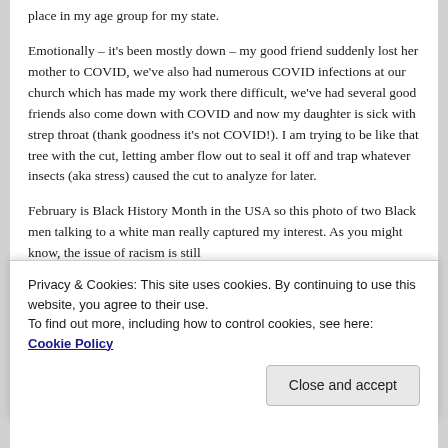place in my age group for my state.
Emotionally – it's been mostly down – my good friend suddenly lost her mother to COVID, we've also had numerous COVID infections at our church which has made my work there difficult, we've had several good friends also come down with COVID and now my daughter is sick with strep throat (thank goodness it's not COVID!). I am trying to be like that tree with the cut, letting amber flow out to seal it off and trap whatever insects (aka stress) caused the cut to analyze for later.
February is Black History Month in the USA so this photo of two Black men talking to a white man really captured my interest. As you might know, the issue of racism is still
Privacy & Cookies: This site uses cookies. By continuing to use this website, you agree to their use.
To find out more, including how to control cookies, see here: Cookie Policy
Close and accept